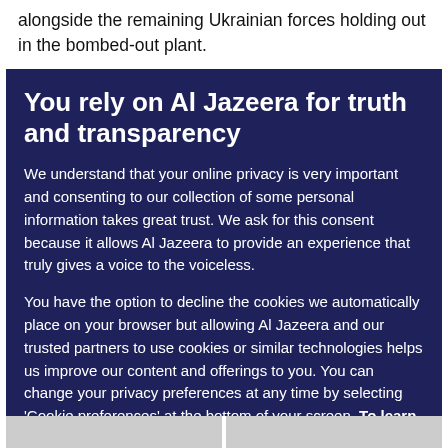alongside the remaining Ukrainian forces holding out in the bombed-out plant.
You rely on Al Jazeera for truth and transparency
We understand that your online privacy is very important and consenting to our collection of some personal information takes great trust. We ask for this consent because it allows Al Jazeera to provide an experience that truly gives a voice to the voiceless.
You have the option to decline the cookies we automatically place on your browser but allowing Al Jazeera and our trusted partners to use cookies or similar technologies helps us improve our content and offerings to you. You can change your privacy preferences at any time by selecting 'Cookie preferences' at the bottom of your screen. To learn more, please view our Cookie Policy.